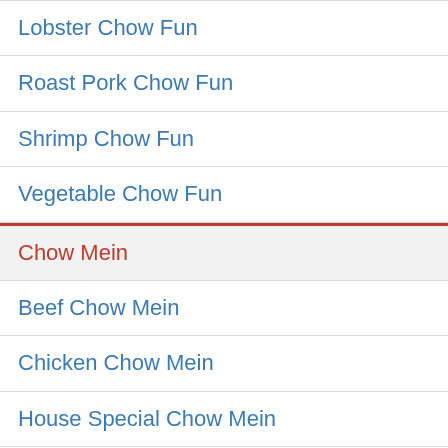Lobster Chow Fun
Roast Pork Chow Fun
Shrimp Chow Fun
Vegetable Chow Fun
Chow Mein
Beef Chow Mein
Chicken Chow Mein
House Special Chow Mein
Lobster Chow Mein
Qt.
Roast Pork Chow Mein